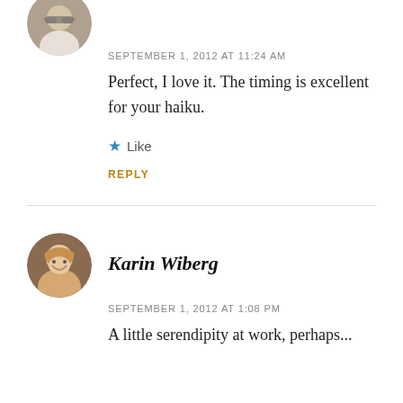[Figure (photo): Circular avatar photo of a woman with glasses, partially cropped at top]
SEPTEMBER 1, 2012 AT 11:24 AM
Perfect, I love it. The timing is excellent for your haiku.
★ Like
REPLY
[Figure (photo): Circular avatar photo of Karin Wiberg, a woman with blonde hair smiling]
Karin Wiberg
SEPTEMBER 1, 2012 AT 1:08 PM
A little serendipity at work, perhaps...